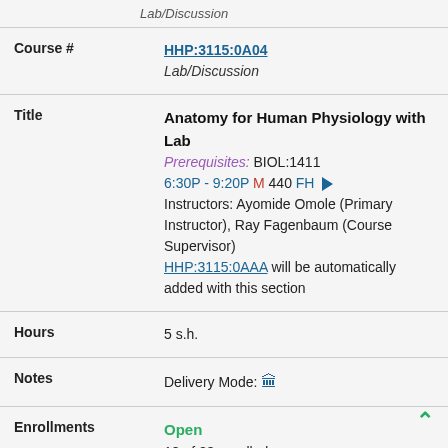Lab/Discussion (partial top bar)
| Field | Value |
| --- | --- |
| Course # | HHP:3115:0A04
Lab/Discussion |
| Title | Anatomy for Human Physiology with Lab
Prerequisites: BIOL:1411
6:30P - 9:20P M 440 FH
Instructors: Ayomide Omole (Primary Instructor), Ray Fagenbaum (Course Supervisor)
HHP:3115:0AAA will be automatically added with this section |
| Hours | 5 s.h. |
| Notes | Delivery Mode: [icon] |
| Enrollments | Open
18 of 23 enrolled |
| Course # | HHP:3115:0EXB
Lecture |